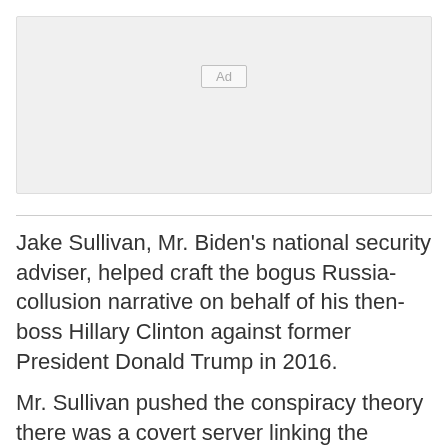[Figure (other): Advertisement placeholder box with 'Ad' label]
Jake Sullivan, Mr. Biden’s national security adviser, helped craft the bogus Russia-collusion narrative on behalf of his then-boss Hillary Clinton against former President Donald Trump in 2016.
Mr. Sullivan pushed the conspiracy theory there was a covert server linking the Trump Organization to a Russian-based bank.